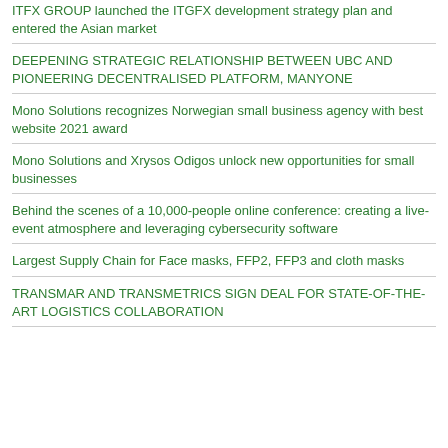ITFX GROUP launched the ITGFX development strategy plan and entered the Asian market
DEEPENING STRATEGIC RELATIONSHIP BETWEEN UBC AND PIONEERING DECENTRALISED PLATFORM, MANYONE
Mono Solutions recognizes Norwegian small business agency with best website 2021 award
Mono Solutions and Xrysos Odigos unlock new opportunities for small businesses
Behind the scenes of a 10,000-people online conference: creating a live-event atmosphere and leveraging cybersecurity software
Largest Supply Chain for Face masks, FFP2, FFP3 and cloth masks
TRANSMAR AND TRANSMETRICS SIGN DEAL FOR STATE-OF-THE-ART LOGISTICS COLLABORATION